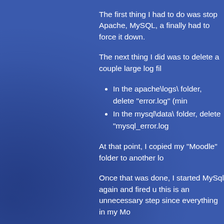The first thing I had to do was stop Apache, MySQL, a finally had to force it down.
The next thing I did was to delete a couple large log fil
In the apache\logs\ folder, delete "error.log" (min
In the mysql\data\ folder, delete "mysql_error.log
At that point, I copied my "Moodle" folder to another lo
Once that was done, I started MySql again and fired u this is an unnecessary step since everything in my Mo
Because I was running 2.1.2, I had to upgrade to 2.2.1
I deleted everything in my "moodle\server\moodle" fol config.php file.
I started Moodle (apache, mysql, php) again and went the blocks, mod, and theme folders from your old insta would give me the "Upgrade" option.